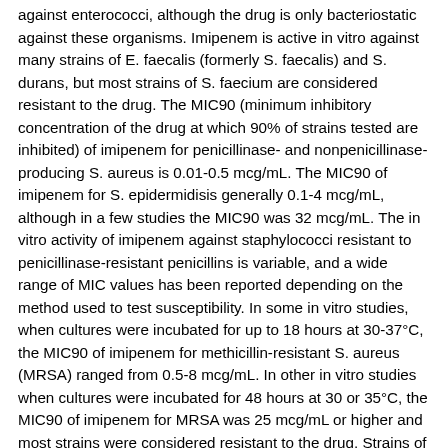against enterococci, although the drug is only bacteriostatic against these organisms. Imipenem is active in vitro against many strains of E. faecalis (formerly S. faecalis) and S. durans, but most strains of S. faecium are considered resistant to the drug. The MIC90 (minimum inhibitory concentration of the drug at which 90% of strains tested are inhibited) of imipenem for penicillinase- and nonpenicillinase-producing S. aureus is 0.01-0.5 mcg/mL. The MIC90 of imipenem for S. epidermidisis generally 0.1-4 mcg/mL, although in a few studies the MIC90 was 32 mcg/mL. The in vitro activity of imipenem against staphylococci resistant to penicillinase-resistant penicillins is variable, and a wide range of MIC values has been reported depending on the method used to test susceptibility. In some in vitro studies, when cultures were incubated for up to 18 hours at 30-37°C, the MIC90 of imipenem for methicillin-resistant S. aureus (MRSA) ranged from 0.5-8 mcg/mL. In other in vitro studies when cultures were incubated for 48 hours at 30 or 35°C, the MIC90 of imipenem for MRSA was 25 mcg/mL or higher and most strains were considered resistant to the drug. Strains of staphylococci resistant to penicillinase-resistant penicillins should be considered resistant to imipenem. The MIC90 of imipenem for S. pneumoniae is 0.01-1 mcg/mL, and the MIC90 of the drug for S. pyogenes, viridans streptococci, or groups B, C, G, or H streptococci is 0.01-0.125 mcg/mL. The MIC90 of imipenem reported